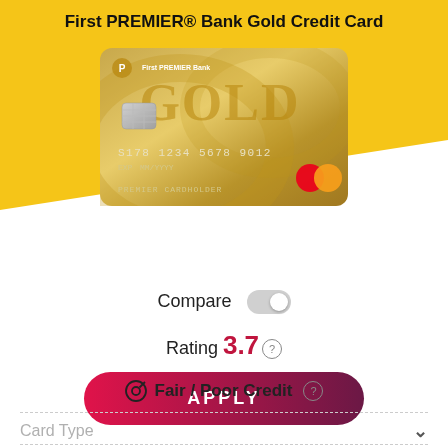First PREMIER® Bank Gold Credit Card
[Figure (photo): Gold credit card image showing First PREMIER Bank Gold card with chip, card number S178 1234 5678 9012, PREMIER CARDHOLDER, Mastercard logo]
Compare (toggle off)
Rating 3.7
APPLY
Fair / Poor Credit
Card Type